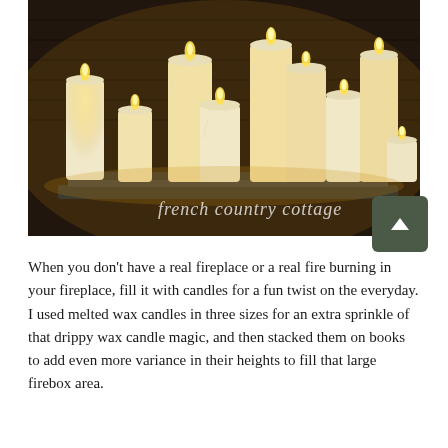[Figure (photo): A group of ivory/cream pillar candles of various heights with dripped wax texture, all lit with glowing flames, arranged on stacked books in front of a dark brick fireplace background. A script watermark reads 'french country cottage' overlaid on the lower portion of the image.]
When you don't have a real fireplace or a real fire burning in your fireplace, fill it with candles for a fun twist on the everyday. I used melted wax candles in three sizes for an extra sprinkle of that drippy wax candle magic, and then stacked them on books to add even more variance in their heights to fill that large firebox area.